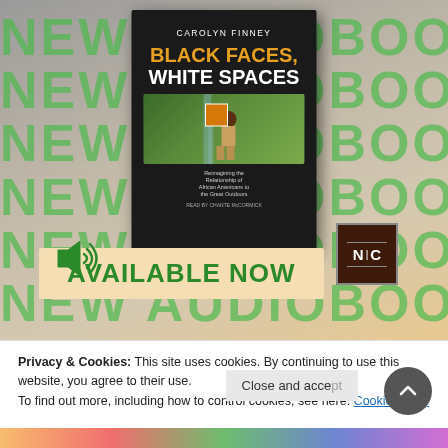[Figure (illustration): New Audiobook promotional banner showing the book cover 'Black Faces, White Spaces' by Carolyn Finney, with a green repeating 'NEW AUDIOBOOK' text background, an audiobook cover image, 'AVAILABLE NOW' banner, speaker icon, and NC publisher badge.]
Privacy & Cookies: This site uses cookies. By continuing to use this website, you agree to their use.
To find out more, including how to control cookies, see here: Cookie Policy
Close and accept